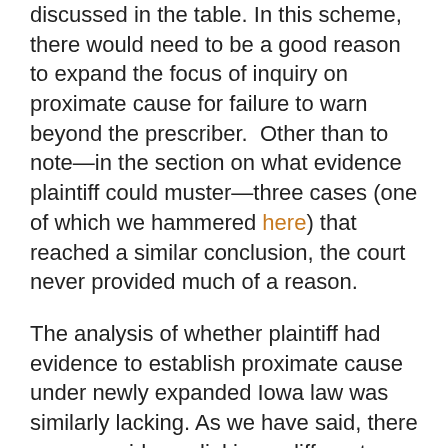discussed in the table. In this scheme, there would need to be a good reason to expand the focus of inquiry on proximate cause for failure to warn beyond the prescriber.  Other than to note—in the section on what evidence plaintiff could muster—three cases (one of which we hammered here) that reached a similar conclusion, the court never provided much of a reason.

The analysis of whether plaintiff had evidence to establish proximate cause under newly expanded Iowa law was similarly lacking. As we have said, there was no evidence linking a different warning on